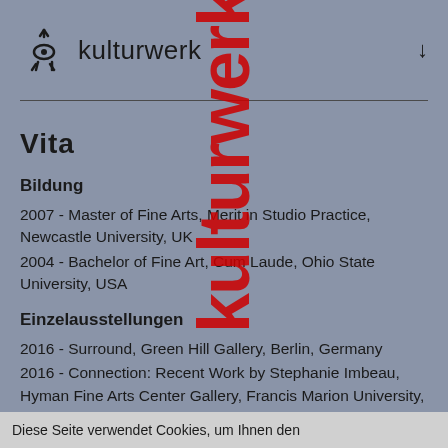kulturwerk ↓
Vita
Bildung
2007 - Master of Fine Arts, Merit in Studio Practice, Newcastle University, UK
2004 - Bachelor of Fine Art, Cum Laude, Ohio State University, USA
Einzelausstellungen
2016 - Surround, Green Hill Gallery, Berlin, Germany
2016 - Connection: Recent Work by Stephanie Imbeau, Hyman Fine Arts Center Gallery, Francis Marion University,
Diese Seite verwendet Cookies, um Ihnen den